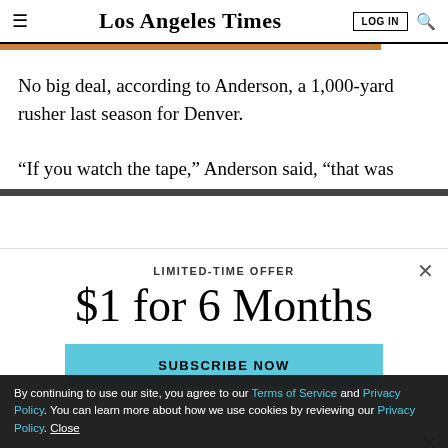Los Angeles Times
No big deal, according to Anderson, a 1,000-yard rusher last season for Denver.
“If you watch the tape,” Anderson said, “that was
LIMITED-TIME OFFER
$1 for 6 Months
SUBSCRIBE NOW
By continuing to use our site, you agree to our Terms of Service and Privacy Policy. You can learn more about how we use cookies by reviewing our Privacy Policy. Close